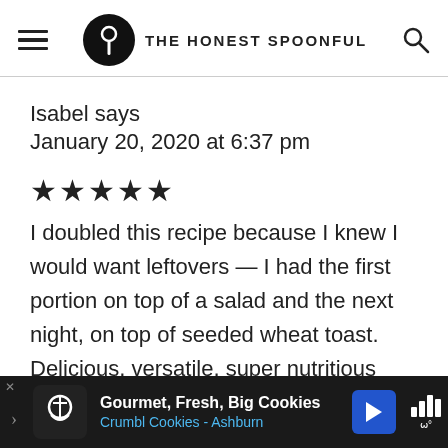THE HONEST SPOONFUL
Isabel says
January 20, 2020 at 6:37 pm
★★★★★
I doubled this recipe because I knew I would want leftovers — I had the first portion on top of a salad and the next night, on top of seeded wheat toast.
Delicious, versatile, super nutritious and to...
[Figure (screenshot): Ad banner: Gourmet, Fresh, Big Cookies - Crumbl Cookies - Ashburn]